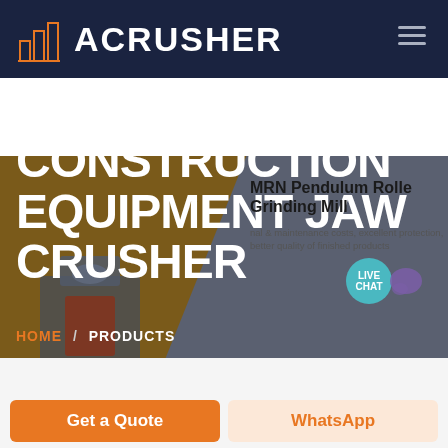[Figure (logo): ACRUSHER brand logo with orange building/crusher icon and white bold text on dark navy header]
[Figure (screenshot): Hero banner with dark brown/gold left panel and gray right panel, jaw crusher machine image, large white title text reading SERIES CONSTRUCTION EQUIPMENT JAW CRUSHER, breadcrumb navigation HOME / PRODUCTS, MRN Pendulum Roller Grinding Mill product card on right, and LIVE CHAT bubble]
SERIES CONSTRUCTION EQUIPMENT JAW CRUSHER
MRN Pendulum Roller Grinding Mill
nal & maintenance costs, excellent protection, better quality of finished products
HOME / PRODUCTS
Get a Quote
WhatsApp